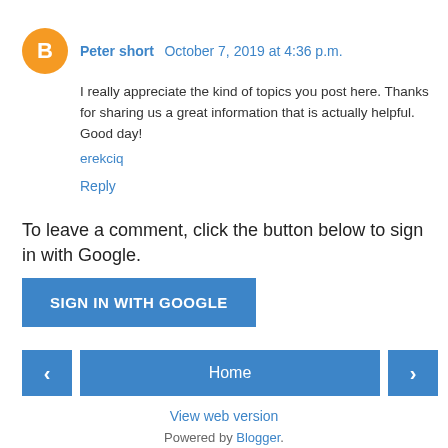Peter short  October 7, 2019 at 4:36 p.m.
I really appreciate the kind of topics you post here. Thanks for sharing us a great information that is actually helpful. Good day!
erekciq
Reply
To leave a comment, click the button below to sign in with Google.
[Figure (other): SIGN IN WITH GOOGLE button]
[Figure (other): Navigation bar with left arrow, Home button, and right arrow]
View web version
Powered by Blogger.